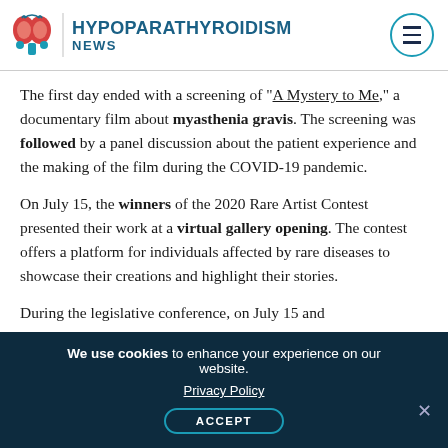HYPOPARATHYROIDISM NEWS
The first day ended with a screening of “A Mystery to Me,” a documentary film about myasthenia gravis. The screening was followed by a panel discussion about the patient experience and the making of the film during the COVID-19 pandemic.
On July 15, the winners of the 2020 Rare Artist Contest presented their work at a virtual gallery opening. The contest offers a platform for individuals affected by rare diseases to showcase their creations and highlight their stories.
During the legislative conference, on July 15 and
We use cookies to enhance your experience on our website. Privacy Policy ACCEPT